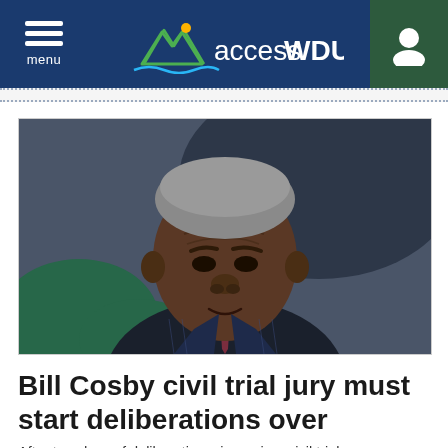accessWDUN — menu / user navigation header
[Figure (photo): Close-up photo of Bill Cosby wearing a dark pinstripe suit and dark tie, looking directly at camera with a serious expression, outdoor background with green foliage and dark elements.]
Bill Cosby civil trial jury must start deliberations over
After two days of deliberations, jurors in a civil trial